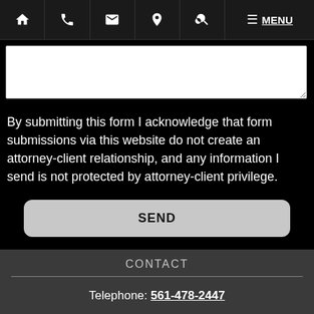MENU navigation bar with home, phone, email, location, search, menu icons
By submitting this form I acknowledge that form submissions via this website do not create an attorney-client relationship, and any information I send is not protected by attorney-client privilege.
SEND
CONTACT
Telephone: 561-478-2447
Fax: 561-478-5073
LOCATION